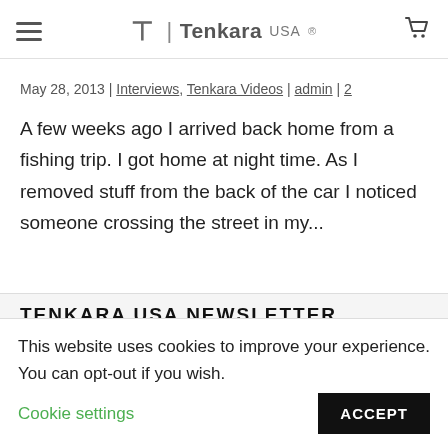Tenkara USA
May 28, 2013 | Interviews, Tenkara Videos | admin | 2
A few weeks ago I arrived back home from a fishing trip. I got home at night time. As I removed stuff from the back of the car I noticed someone crossing the street in my...
TENKARA USA NEWSLETTER
This website uses cookies to improve your experience. You can opt-out if you wish. Cookie settings ACCEPT